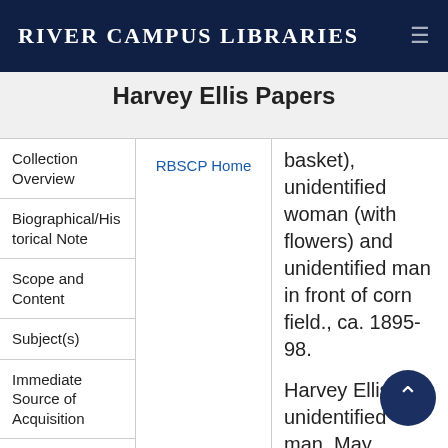River Campus Libraries
Harvey Ellis Papers
Collection Overview
Biographical/Historical Note
Scope and Content
Subject(s)
Immediate Source of Acquisition
Access
Use
RBSCP Home
basket), unidentified woman (with flowers) and unidentified man in front of corn field., ca. 1895-98.

Harvey Ellis, unidentified man, May Bragdon (with basket), unidentified woman (with flowers) in front of corn field., ca. 1895-98.